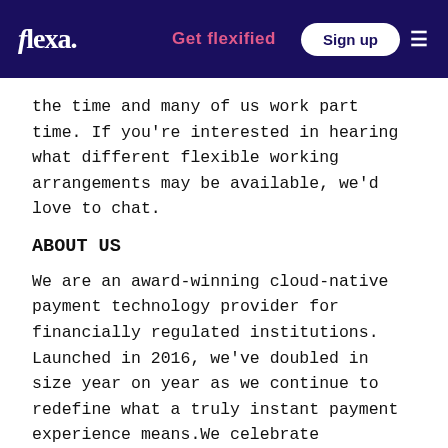flexa. | Get flexified | Sign up
the time and many of us work part time. If you're interested in hearing what different flexible working arrangements may be available, we'd love to chat.
ABOUT US
We are an award-winning cloud-native payment technology provider for financially regulated institutions. Launched in 2016, we've doubled in size year on year as we continue to redefine what a truly instant payment experience means.We celebrate diversity, promote entrepreneurialism and are committed to giving everyone a say in shaping our business. Here you will grow as a person and accomplish incredible things. A career at Form3 is